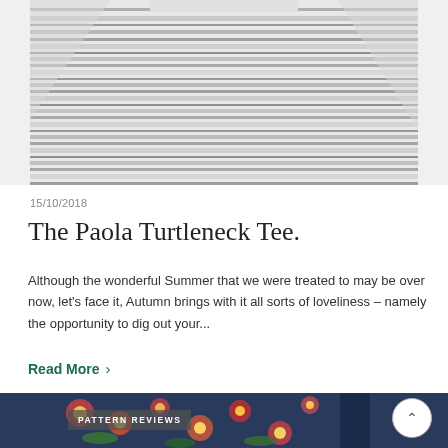[Figure (photo): Person wearing a grey and white horizontal striped turtleneck long-sleeve tee, cropped at neck and waist, white background]
15/10/2018
The Paola Turtleneck Tee.
Although the wonderful Summer that we were treated to may be over now, let's face it, Autumn brings with it all sorts of loveliness – namely the opportunity to dig out your...
Read More  >
[Figure (photo): Bottom portion of page showing a floral patterned fabric in navy blue with colorful flowers, with a 'PATTERN REVIEWS' badge overlay]
PATTERN REVIEWS